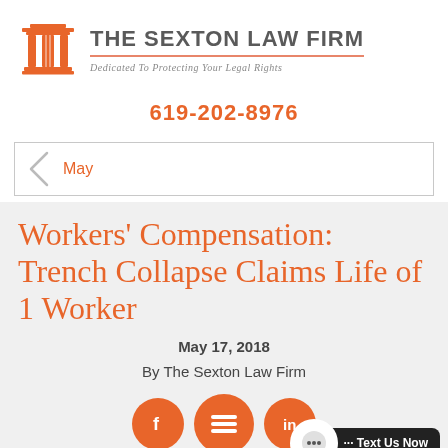[Figure (logo): The Sexton Law Firm logo: red/orange columned pillar icon on the left, firm name and tagline on the right]
619-202-8976
May
Workers' Compensation: Trench Collapse Claims Life of 1 Worker
May 17, 2018
By The Sexton Law Firm
[Figure (infographic): Social media icons (Facebook, menu/burger, LinkedIn) as orange circles, and a 'Text Us Now' chat button in the bottom right]